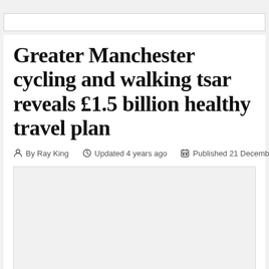Greater Manchester cycling and walking tsar reveals £1.5 billion healthy travel plan
By Ray King  Updated 4 years ago  Published 21 December 2017
[Figure (photo): Image placeholder area below the article byline]